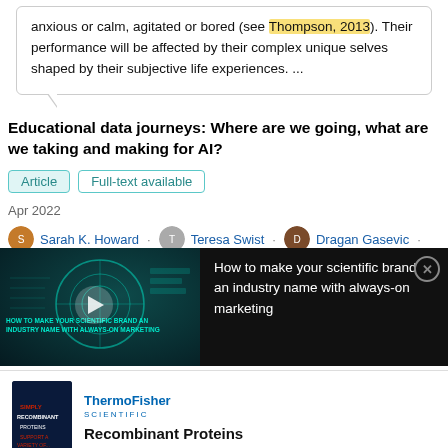anxious or calm, agitated or bored (see Thompson, 2013). Their performance will be affected by their complex unique selves shaped by their subjective life experiences. ...
Educational data journeys: Where are we going, what are we taking and making for AI?
Article  Full-text available
Apr 2022
Sarah K. Howard · Teresa Swist · Dragan Gasevic · Neil Selwyn
[Figure (screenshot): Video advertisement overlay: 'How to make your scientific brand an industry name with always-on marketing' with a dark background, video thumbnail on left with cyan tech graphics and play button, close button top-right.]
[Figure (logo): Thermo Fisher Scientific advertisement with book cover image and 'Recombinant Proteins' text.]